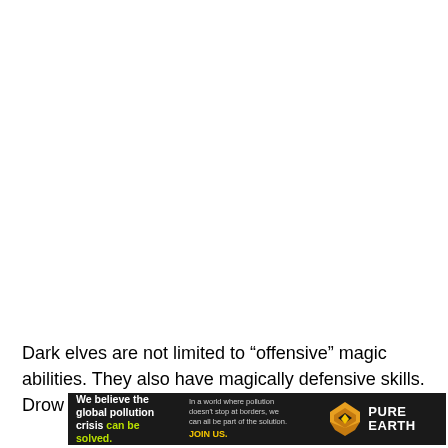Dark elves are not limited to “offensive” magic abilities. They also have magically defensive skills. Drow is naturally
[Figure (other): Advertisement banner for Pure Earth organization. Black background with white and yellow-green text on the left reading 'We believe the global pollution crisis can be solved.' Middle section reads 'In a world where pollution doesn't stop at borders, we can all be part of the solution. JOIN US.' Right section shows Pure Earth logo (diamond/chevron shape in gold/orange) and 'PURE EARTH' text in white.]